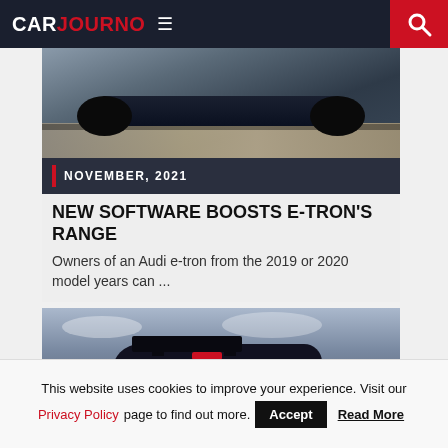CARJOURNO
[Figure (photo): Bottom of a dark SUV/car on a road, rear bumper and tires visible, motion-blurred asphalt background]
NOVEMBER, 2021
NEW SOFTWARE BOOSTS E-TRON'S RANGE
Owners of an Audi e-tron from the 2019 or 2020 model years can ...
[Figure (photo): A dark sports/racing car viewed from behind at an angle, showing a large rear wing, against a cloudy sky background]
This website uses cookies to improve your experience. Visit our Privacy Policy page to find out more.